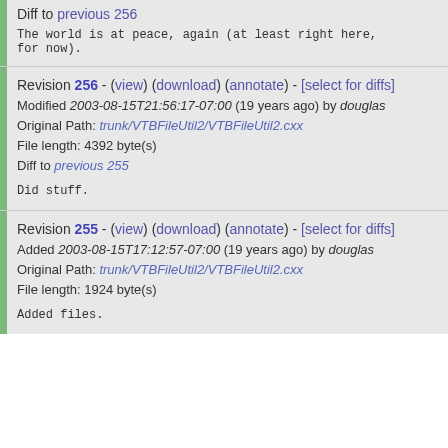File length: 3010 byte(s)
Diff to previous 256

The world is at peace, again (at least right here, for now).
Revision 256 - (view) (download) (annotate) - [select for diffs]
Modified 2003-08-15T21:56:17-07:00 (19 years ago) by douglas
Original Path: trunk/VTBFileUtil2/VTBFileUtil2.cxx
File length: 4392 byte(s)
Diff to previous 255

Did stuff.
Revision 255 - (view) (download) (annotate) - [select for diffs]
Added 2003-08-15T17:12:57-07:00 (19 years ago) by douglas
Original Path: trunk/VTBFileUtil2/VTBFileUtil2.cxx
File length: 1924 byte(s)

Added files.